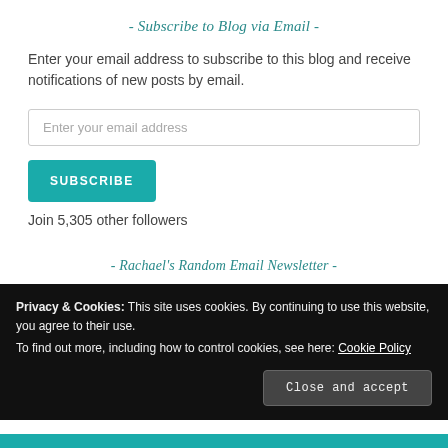- Subscribe to Blog via Email -
Enter your email address to subscribe to this blog and receive notifications of new posts by email.
Enter your email address
SUBSCRIBE
Join 5,305 other followers
- Rachael's Random Email Newsletter -
Privacy & Cookies: This site uses cookies. By continuing to use this website, you agree to their use.
To find out more, including how to control cookies, see here: Cookie Policy
Close and accept